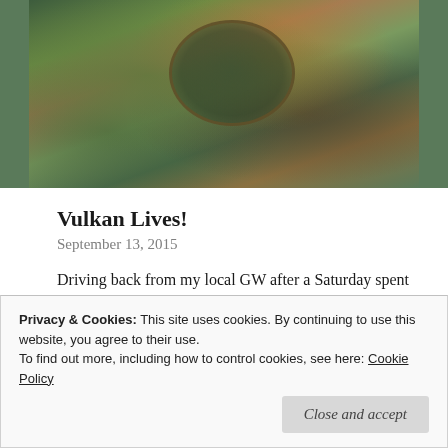[Figure (photo): Close-up of a painted Warhammer 40K miniature figure (Vulkan), showing detailed armor with green, orange, and brown tones, eagle-like decorations and mechanical elements.]
Vulkan Lives!
September 13, 2015
Driving back from my local GW after a Saturday spent painting Imperial Fists and Tracy asked me “Did you post up the photos of Vulkan yet?” and it suddenly dawned on me that despite finishing him over a month ago I had yet to share him here! How very remiss of me! I had
Privacy & Cookies: This site uses cookies. By continuing to use this website, you agree to their use.
To find out more, including how to control cookies, see here: Cookie Policy
Close and accept